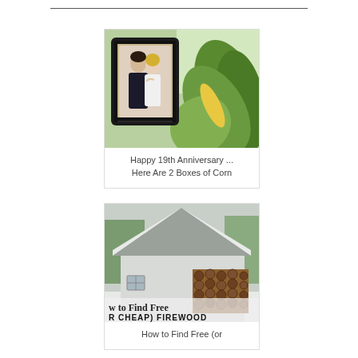[Figure (photo): Photo of a couple in a picture frame surrounded by corn on the cob with husks, outdoors with greenery in background]
Happy 19th Anniversary ... Here Are 2 Boxes of Corn
[Figure (photo): Winter photo of a small white outbuilding or shed with snow on the roof, with a large stack of firewood along its side. Text overlay reads 'w to Find Free R CHEAP) FIREWOOD']
How to Find Free (or